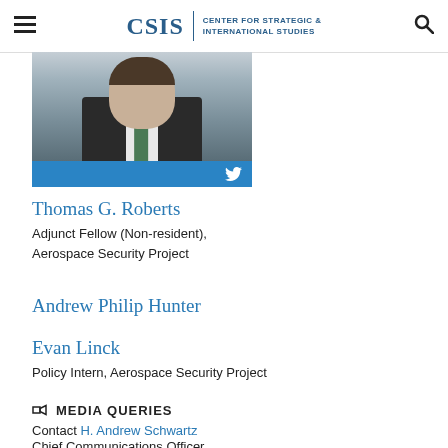CSIS | CENTER FOR STRATEGIC & INTERNATIONAL STUDIES
[Figure (photo): Photo of Thomas G. Roberts in dark suit with green tie, with blue Twitter bar at bottom]
Thomas G. Roberts
Adjunct Fellow (Non-resident), Aerospace Security Project
Andrew Philip Hunter
Evan Linck
Policy Intern, Aerospace Security Project
MEDIA QUERIES
Contact H. Andrew Schwartz
Chief Communications Officer